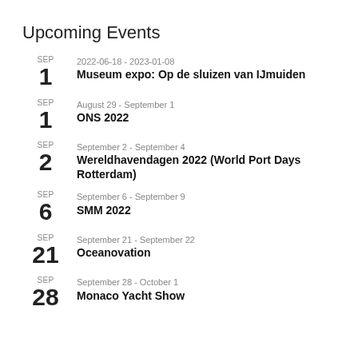Upcoming Events
SEP 1 | 2022-06-18 - 2023-01-08 | Museum expo: Op de sluizen van IJmuiden
SEP 1 | August 29 - September 1 | ONS 2022
SEP 2 | September 2 - September 4 | Wereldhavendagen 2022 (World Port Days Rotterdam)
SEP 6 | September 6 - September 9 | SMM 2022
SEP 21 | September 21 - September 22 | Oceanovation
SEP 28 | September 28 - October 1 | Monaco Yacht Show